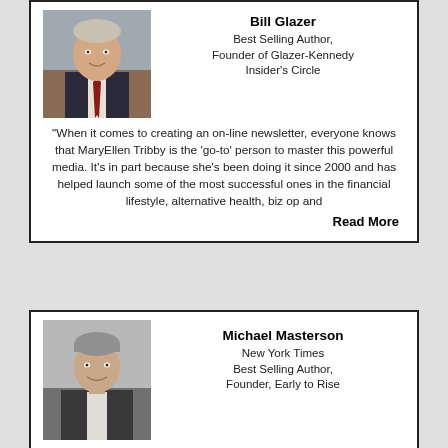[Figure (photo): Portrait photo of Bill Glazer, a middle-aged man in a suit with a tie, smiling]
Bill Glazer
Best Selling Author, Founder of Glazer-Kennedy Insider's Circle
"When it comes to creating an on-line newsletter, everyone knows that MaryEllen Tribby is the 'go-to' person to master this powerful media. It's in part because she's been doing it since 2000 and has helped launch some of the most successful ones in the financial lifestyle, alternative health, biz op and
Read More
[Figure (photo): Portrait photo of Michael Masterson, a middle-aged man with grey hair, wearing a dark jacket, smiling]
Michael Masterson
New York Times Best Selling Author, Founder, Early to Rise
"MaryEllen Tribby is a superstar in every sense of the word. She is the only person I know who has the ability to get the important things done that produce revenue everytime."